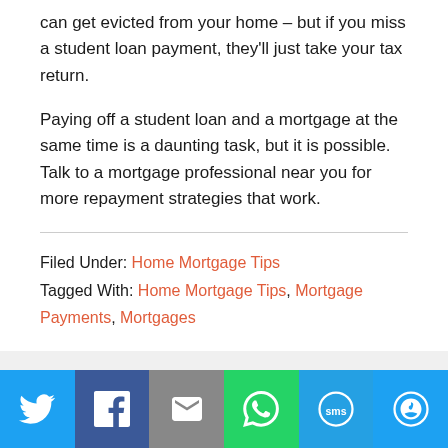can get evicted from your home – but if you miss a student loan payment, they'll just take your tax return.
Paying off a student loan and a mortgage at the same time is a daunting task, but it is possible. Talk to a mortgage professional near you for more repayment strategies that work.
Filed Under: Home Mortgage Tips
Tagged With: Home Mortgage Tips, Mortgage Payments, Mortgages
[Figure (infographic): Social sharing bar with icons for Twitter, Facebook, Email, WhatsApp, SMS, and More]